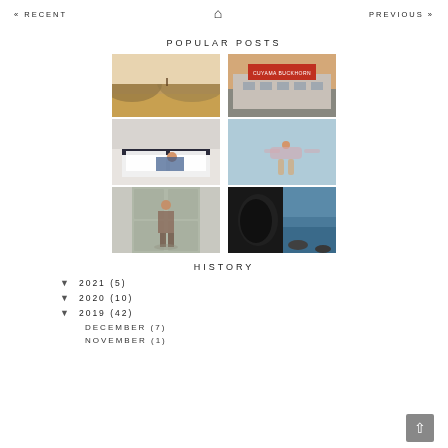« RECENT   🏠   PREVIOUS »
POPULAR POSTS
[Figure (photo): Grid of 6 lifestyle/travel photos arranged in two columns under Popular Posts heading]
HISTORY
▼ 2021 (5)
▼ 2020 (10)
▼ 2019 (42)
DECEMBER (7)
NOVEMBER (1)